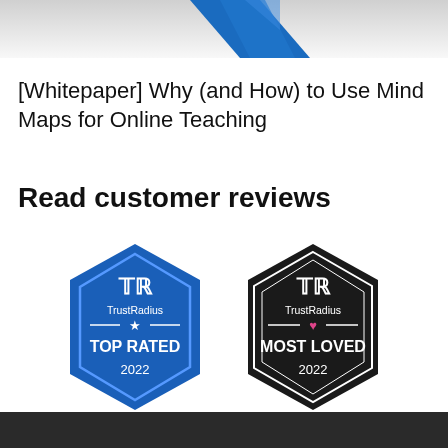[Figure (illustration): Partial view of a geometric/book illustration with blue angular shape on gray background, cropped at top]
[Whitepaper] Why (and How) to Use Mind Maps for Online Teaching
Read customer reviews
[Figure (logo): TrustRadius Top Rated 2022 badge (blue hexagon shape) and TrustRadius Most Loved 2022 badge (black hexagon shape), side by side]